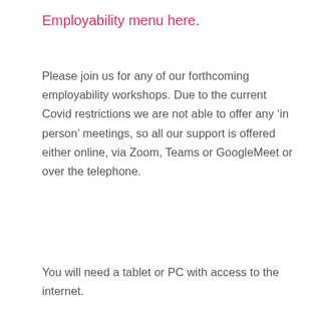Employability menu here.
Please join us for any of our forthcoming employability workshops. Due to the current Covid restrictions we are not able to offer any ‘in person’ meetings, so all our support is offered either online, via Zoom, Teams or GoogleMeet or over the telephone.
You will need a tablet or PC with access to the internet.
Eligibility Criteria
People aged 50+ who are actively seeking work or facing redundancy.
This site uses minimal cookies to track visitor numbers